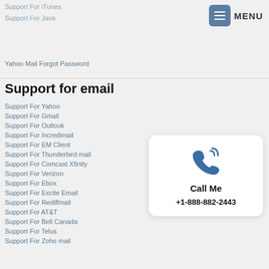Support For iTunes
Support For Java
Yahoo Mail Forgot Password
Support for email
Support For Yahoo
Support For Gmail
Support For Outlook
Support For Incredimail
Support For EM Client
Support For Thunderbird mail
Support For Comcast Xfinity
Support For Verizon
Support For Ebox
Support For Excite Email
Support For Rediffmail
Support For AT&T
Support For Bell Canada
Support For Telus
Support For Zoho mail
[Figure (infographic): Call Me card with phone icon, text 'Call Me' and phone number +1-888-882-2443]
Call Me
+1-888-882-2443